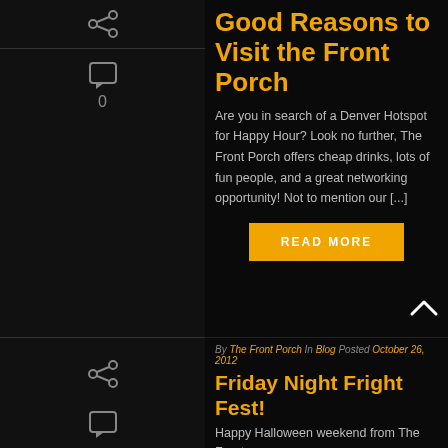[Figure (other): Share icon (connected nodes) in sidebar top]
[Figure (other): Comment/chat icon with count 0 in sidebar]
Good Reasons to Visit the Front Porch
Are you in search of a Denver Hotspot for Happy Hour? Look no further, The Front Porch offers cheap drinks, lots of fun people, and a great networking opportunity! Not to mention our [...]
READ MORE
[Figure (other): Back to top arrow (chevron up) icon]
By The Front Porch In Blog Posted October 26, 2012
Friday Night Fright Fest!
Happy Halloween weekend from The Front
[Figure (other): Share icon in sidebar bottom]
[Figure (other): Comment icon in sidebar bottom]